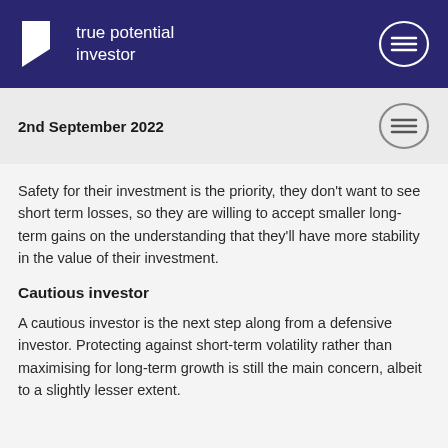true potential investor
2nd September 2022
Safety for their investment is the priority, they don't want to see short term losses, so they are willing to accept smaller long-term gains on the understanding that they'll have more stability in the value of their investment.
Cautious investor
A cautious investor is the next step along from a defensive investor. Protecting against short-term volatility rather than maximising for long-term growth is still the main concern, albeit to a slightly lesser extent.